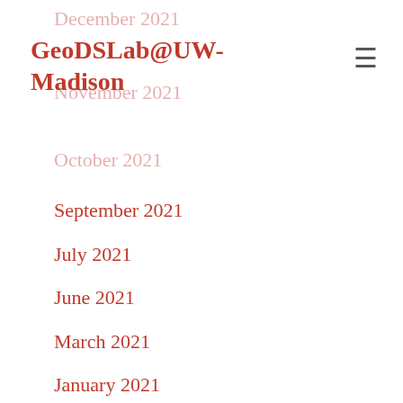GeoDSLab@UW-Madison
December 2021
November 2021
October 2021
September 2021
July 2021
June 2021
March 2021
January 2021
October 2020
September 2020
August 2020
July 2020
June 2020